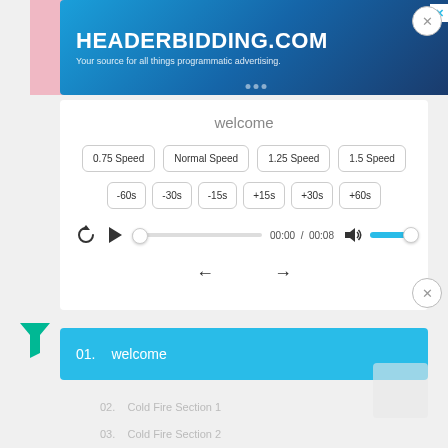[Figure (screenshot): Advertisement banner for HEADERBIDDING.COM with tagline 'Your source for all things programmatic advertising.' on a blue gradient background]
welcome
0.75 Speed
Normal Speed
1.25 Speed
1.5 Speed
-60s
-30s
-15s
+15s
+30s
+60s
00:00  /  00:08
01.   welcome
02.   Cold Fire Section 1
03.   Cold Fire Section 2